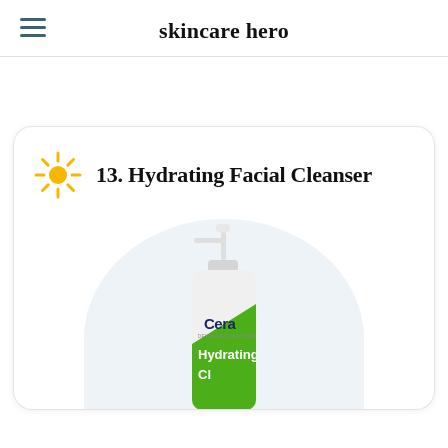skincare hero
13. Hydrating Facial Cleanser
[Figure (photo): CeraVe Hydrating Facial Cleanser bottle with pump dispenser on a light blue circular background]